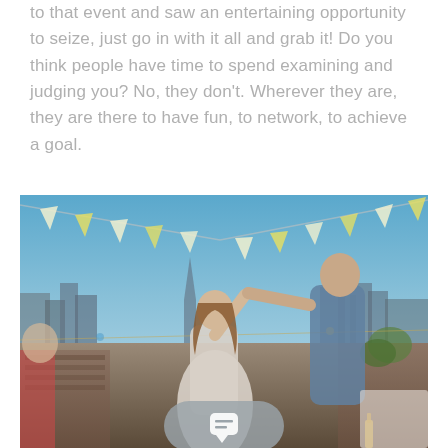to that event and saw an entertaining opportunity to seize, just go in with it all and grab it! Do you think people have time to spend examining and judging you? No, they don't. Wherever they are, they are there to have fun, to network, to achieve a goal.
[Figure (photo): Two people dancing on a rooftop at dusk with colorful bunting flags, string lights, and city skyline in background. A chat button overlay is visible at the bottom center.]